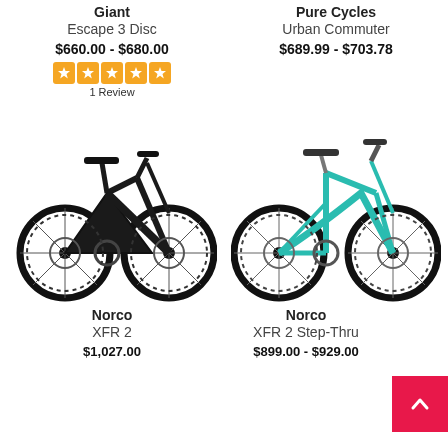Giant
Escape 3 Disc
$660.00 - $680.00
1 Review
Pure Cycles
Urban Commuter
$689.99 - $703.78
[Figure (photo): Black Norco XFR 2 bicycle facing right]
[Figure (photo): Teal Norco XFR 2 Step-Thru bicycle facing right]
Norco
XFR 2
$1,027.00
Norco
XFR 2 Step-Thru
$899.00 - $929.00